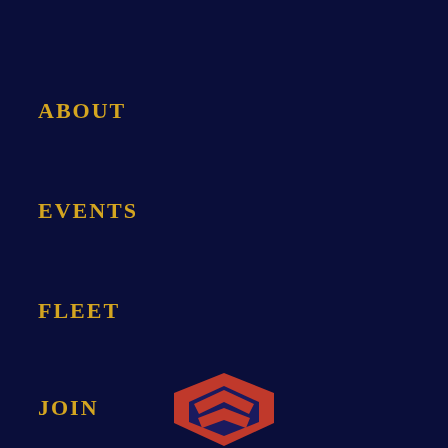ABOUT
EVENTS
FLEET
JOIN
NEWS
TEAM
PHONE
Emergency: 911
Non-Emergency: 716-897-1564
[Figure (logo): Red and dark blue shield/badge emblem partially visible at bottom center of page]